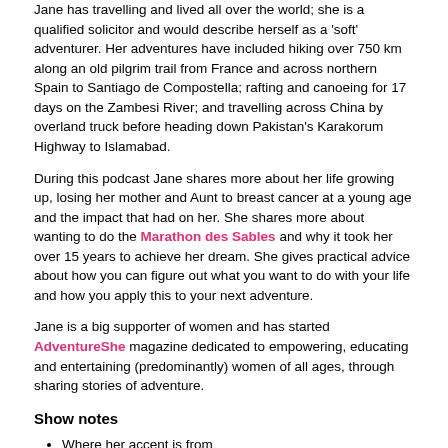Jane has travelling and lived all over the world; she is a qualified solicitor and would describe herself as a 'soft' adventurer. Her adventures have included hiking over 750 km along an old pilgrim trail from France and across northern Spain to Santiago de Compostella; rafting and canoeing for 17 days on the Zambesi River; and travelling across China by overland truck before heading down Pakistan's Karakorum Highway to Islamabad.
During this podcast Jane shares more about her life growing up, losing her mother and Aunt to breast cancer at a young age and the impact that had on her. She shares more about wanting to do the Marathon des Sables and why it took her over 15 years to achieve her dream. She gives practical advice about how you can figure out what you want to do with your life and how you apply this to your next adventure.
Jane is a big supporter of women and has started AdventureShe magazine dedicated to empowering, educating and entertaining (predominantly) women of all ages, through sharing stories of adventure.
Show notes
Where her accent is from
Believing in justice and becoming a solicitor
Growing up in Wales and coming from a large family
Going on a cycle adventure at 15
Going to university at Cardiff and having some fun
Wanting to move to London and why it was easy
Coping with the loss of her mother at 18, as well as losing her aunt and